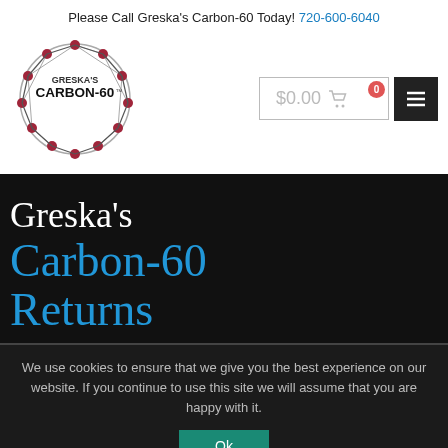Please Call Greska's Carbon-60 Today! 720-600-6040
[Figure (logo): Greska's Carbon-60 logo: a buckminsterfullerene sphere with red nodes and connecting lines, with text GRESKA'S CARBON-60]
[Figure (infographic): Shopping cart showing $0.00 with 0 badge, and hamburger menu button]
Greska's Carbon-60 Returns
We use cookies to ensure that we give you the best experience on our website. If you continue to use this site we will assume that you are happy with it.
Ok